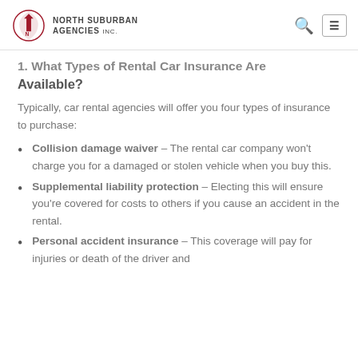North Suburban Agencies Inc.
1. What Types of Rental Car Insurance Are Available?
Typically, car rental agencies will offer you four types of insurance to purchase:
Collision damage waiver – The rental car company won't charge you for a damaged or stolen vehicle when you buy this.
Supplemental liability protection – Electing this will ensure you're covered for costs to others if you cause an accident in the rental.
Personal accident insurance – This coverage will pay for injuries or death of the driver and